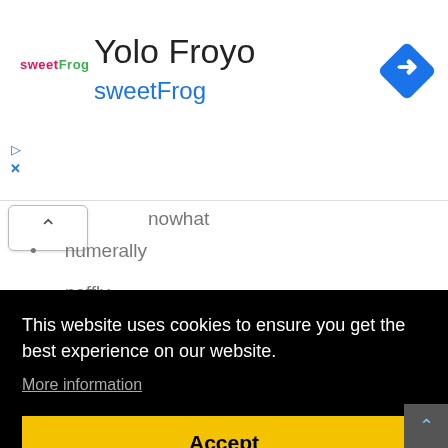[Figure (screenshot): Advertisement banner for Yolo Froyo / sweetFrog with logo, title text, and navigation diamond icon]
nowhat
numerally
naffly
nonconsensually
necrotrophically
neoliberally
This website uses cookies to ensure you get the best experience on our website.
More information
Accept
nonviolently